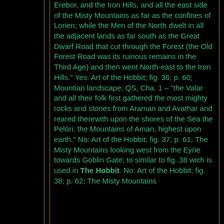Erebor, and the Iron Hills, and all the east side of the Misty Mountains as far as the confines of Lorien; while the Men of the North dwelt in all the adjacent lands as far south as the Great Dwarf Road that cut through the Forest (the Old Forest Road was its ruinous remains in the Third Age) and then went North-east to the Iron Hills." Yes: Art of the Hobbit; fig. 36; p. 60; Mountian landscape; QS, Cha. 1 – "the Valar and all their folk first gathered the most mighty rocks and stones from Araman and Avathar and reared therewith upon the shores of the Sea the Pelóri, the Mountains of Aman, highest upon earth." No: Art of the Hobbit; fig. 37; p. 61; The Misty Mountains looking west from the Eyrie towards Goblin Gate; to similar to fig. 38 wich is used in The Hobbit. No: Art of the Hobbit; fig. 38; p. 62; The Misty Mountains